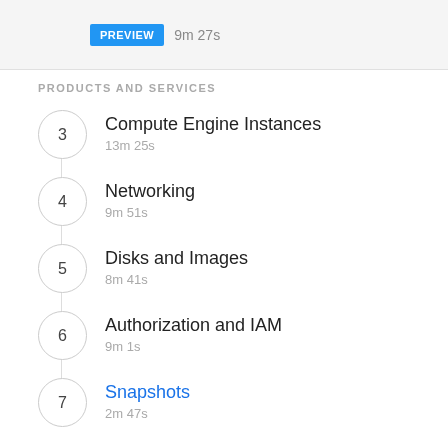[Figure (screenshot): PREVIEW badge button in blue with text '9m 27s' beside it]
PRODUCTS AND SERVICES
3 Compute Engine Instances
13m 25s
4 Networking
9m 51s
5 Disks and Images
8m 41s
6 Authorization and IAM
9m 1s
7 Snapshots
2m 47s